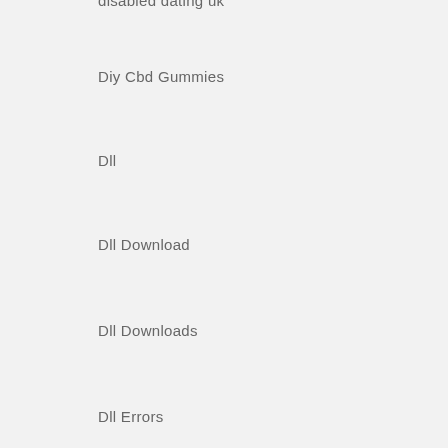disabled dating uk
Diy Cbd Gummies
Dll
Dll Download
Dll Downloads
Dll Errors
Dll Files
Dll Files And Errors
Dll Files for Windows
do dating sites work
Do My Essay
Do My Homework
Does Thc Oil Get You High